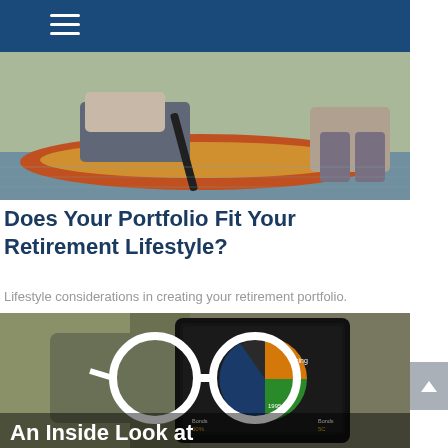[Figure (photo): People kayaking or canoeing on water, viewed from above showing legs and hands holding paddles, with red and yellow kayaks]
Does Your Portfolio Fit Your Retirement Lifestyle?
Lifestyle considerations in creating your retirement portfolio.
[Figure (photo): A tablet device showing a pie chart with bond and other investment allocations, placed inside a backpack. Large white glasses icon overlay and partial text 'An Inside Look at' at the bottom.]